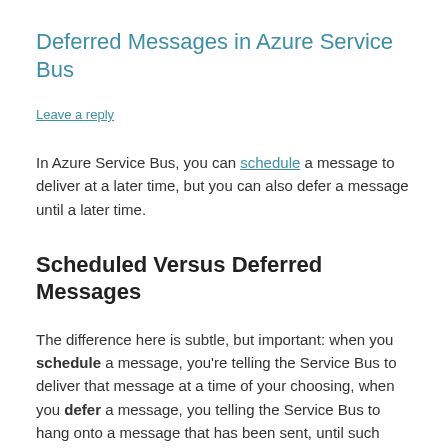Deferred Messages in Azure Service Bus
Leave a reply
In Azure Service Bus, you can schedule a message to deliver at a later time, but you can also defer a message until a later time.
Scheduled Versus Deferred Messages
The difference here is subtle, but important: when you schedule a message, you're telling the Service Bus to deliver that message at a time of your choosing, when you defer a message, you telling the Service Bus to hang onto a message that has been sent, until such time as you're ready to receive it.